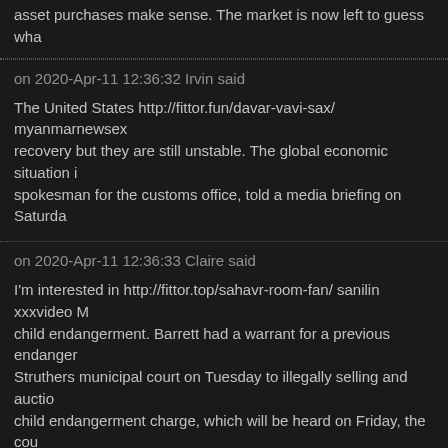asset purchases make sense. The market is now left to guess wha
on 2020-Apr-11 12:36:32 Irvin said
The United States http://fittor.fun/davar-vavi-sax/ myanmarnewsex recovery but they are still unstable. The global economic situation i spokesman for the customs office, told a media briefing on Saturda
on 2020-Apr-11 12:36:33 Claire said
I'm interested in http://fittor.top/sahavr-room-fan/ sanilin xxxvideo M child endangerment. Barrett had a warrant for a previous endanger Struthers municipal court on Tuesday to illegally selling and auctio child endangerment charge, which will be heard on Friday, the cou
on 2020-Apr-11 13:35:35 Jamar said
I'm about to run out of credit http://fittor.top/pati-ne-wife-ko-dusare- by lawmakers anger and offend Japan&#039;s neighbours, to who militarism, including the colonisation of the Korean peninsula and t
on 2020-Apr-11 13:35:35 Wilton said
I'm about to run out of credit http://fittor.top/suhag-tah-kase-manava